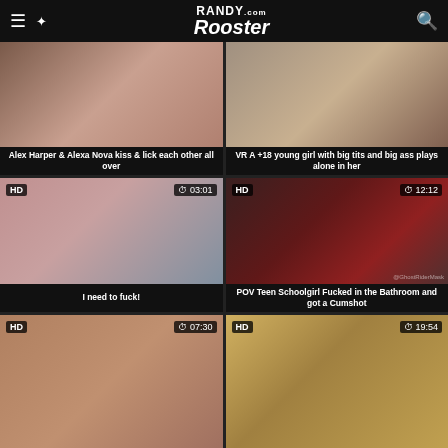Randy Rooster .com
[Figure (screenshot): Video thumbnail for Alex Harper & Alexa Nova kiss & lick each other all over]
Alex Harper & Alexa Nova kiss & lick each other all over
[Figure (screenshot): Video thumbnail for VR A +18 young girl with big tits and big ass plays alone in her]
VR A +18 young girl with big tits and big ass plays alone in her
[Figure (screenshot): HD video thumbnail, duration 03:01, I need to fuck!]
I need to fuck!
[Figure (screenshot): HD video thumbnail, duration 12:12, POV Teen Schoolgirl Fucked in the Bathroom and got a Cumshot]
POV Teen Schoolgirl Fucked in the Bathroom and got a Cumshot
[Figure (screenshot): HD video thumbnail, duration 07:30]
[Figure (screenshot): HD video thumbnail, duration 19:54]